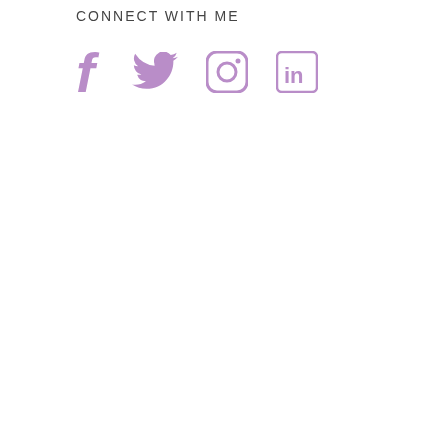CONNECT WITH ME
[Figure (illustration): Four social media icons in purple/lavender color: Facebook (f), Twitter (bird), Instagram (camera), LinkedIn (in)]